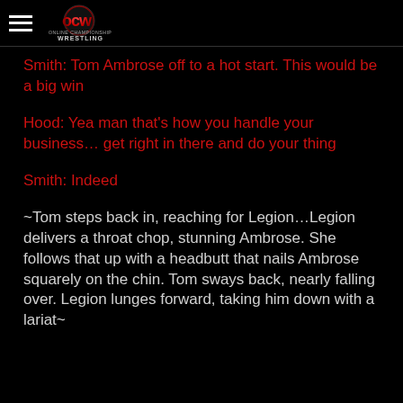OCW Online Championship Wrestling
Smith: Tom Ambrose off to a hot start. This would be a big win
Hood: Yea man that's how you handle your business… get right in there and do your thing
Smith: Indeed
~Tom steps back in, reaching for Legion…Legion delivers a throat chop, stunning Ambrose. She follows that up with a headbutt that nails Ambrose squarely on the chin. Tom sways back, nearly falling over. Legion lunges forward, taking him down with a lariat~